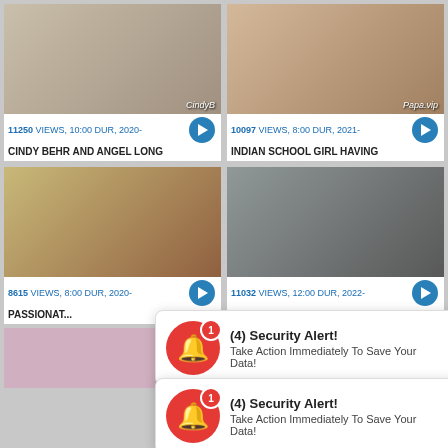[Figure (screenshot): Video thumbnail - two blonde women in school uniforms, watermark CindyB]
[Figure (screenshot): Video thumbnail - explicit content, watermark Papa.vip]
11250 VIEWS, 10:00 DUR, 2020-
10097 VIEWS, 8:00 DUR, 2021-
CINDY BEHR AND ANGEL LONG
INDIAN SCHOOL GIRL HAVING
[Figure (screenshot): Video thumbnail - blonde cosplay woman in car]
[Figure (screenshot): Video thumbnail - man in car, explicit content]
8615 VIEWS, 8:00 DUR, 2020-
11032 VIEWS, 12:00 DUR, 2022-
PASSIONAT...
[Figure (infographic): (4) Security Alert! Take Action Immediately To Save Your Data! - popup 1]
[Figure (infographic): (4) Security Alert! Take Action Immediately To Save Your Data! - popup 2]